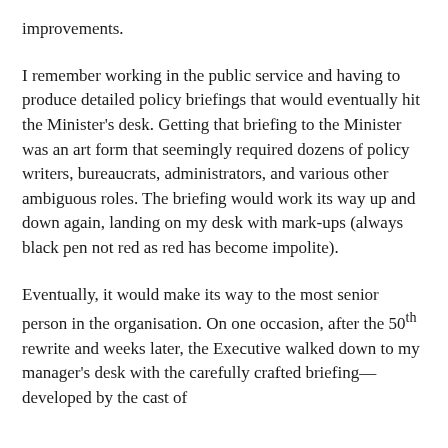improvements.
I remember working in the public service and having to produce detailed policy briefings that would eventually hit the Minister's desk. Getting that briefing to the Minister was an art form that seemingly required dozens of policy writers, bureaucrats, administrators, and various other ambiguous roles. The briefing would work its way up and down again, landing on my desk with mark-ups (always black pen not red as red has become impolite).
Eventually, it would make its way to the most senior person in the organisation. On one occasion, after the 50th rewrite and weeks later, the Executive walked down to my manager's desk with the carefully crafted briefing—developed by the cast of